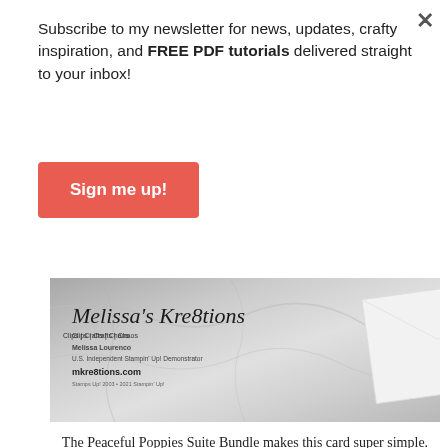×
Subscribe to my newsletter for news, updates, crafty inspiration, and FREE PDF tutorials delivered straight to your inbox!
Sign me up!
[Figure (photo): Banner image for Melissa's Kre8tions showing a business card or logo on a marble background with a white card/envelope. Text reads: Melissa's Kre8tions, Clips | Crafts | Chaos, Melissa Lourenco, U.S. Independent Stampin' Up! Demonstrator, mkre8tions.com]
The Peaceful Poppies Suite Bundle makes this card super simple. I used a standard Whisper White card base, and then stamped the splatter images from the Painted Poppies stamp set. I stamped the Thank You sentiment from the Peaceful Moments stamp set and cut it out on my die cutting machine using the coordinating Painted Labels Dies.